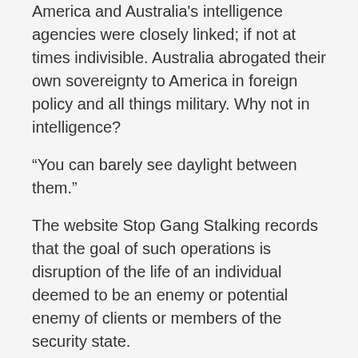America and Australia's intelligence agencies were closely linked; if not at times indivisible. Australia abrogated their own sovereignty to America in foreign policy and all things military. Why not in intelligence?
“You can barely see daylight between them.”
The website Stop Gang Stalking records that the goal of such operations is disruption of the life of an individual deemed to be an enemy or potential enemy of clients or members of the security state.
Agents of communist East Germany’s Stasi referred to the process as Zersetzung , German for “decomposition” or “corrosion”, a reference to the severe psychological, social, and financial effects upon the victim.